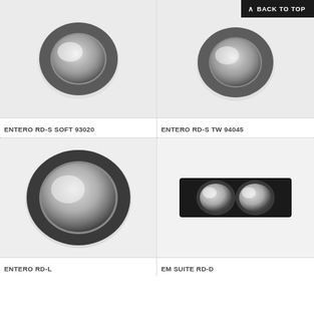[Figure (photo): Recessed ceiling spotlight ENTERO RD-S SOFT 93020, round dark grey/anthracite fixture tilted slightly, viewed from below against light grey background]
[Figure (photo): Recessed ceiling spotlight ENTERO RD-S TW 94045, round dark fixture, similar to left, with BACK TO TOP button overlay in top-right]
ENTERO RD-S SOFT 93020
ENTERO RD-S TW 94045
[Figure (photo): Recessed ceiling spotlight ENTERO RD-L, large round dark anthracite fixture with prominent rim, viewed from below]
[Figure (photo): Recessed ceiling spotlight EM SUITE RD-D, rectangular black frame with two round apertures side by side]
ENTERO RD-L
EM SUITE RD-D